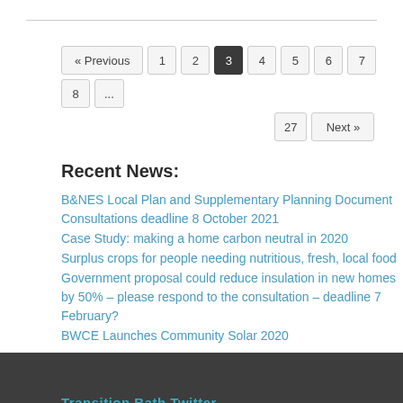Pagination: « Previous 1 2 3 4 5 6 7 8 ... 27 Next »
Recent News:
B&NES Local Plan and Supplementary Planning Document Consultations deadline 8 October 2021
Case Study: making a home carbon neutral in 2020
Surplus crops for people needing nutritious, fresh, local food
Government proposal could reduce insulation in new homes by 50% – please respond to the consultation – deadline 7 February?
BWCE Launches Community Solar 2020
Transition Bath Twitter